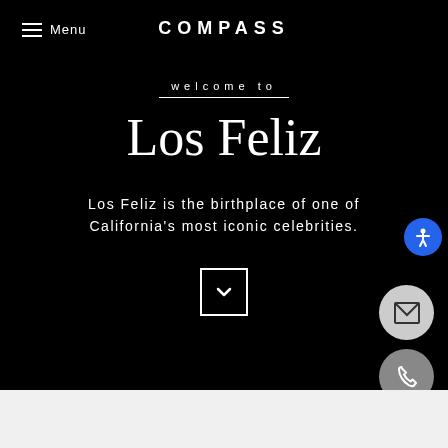Menu
COMPASS
welcome to
Los Feliz
Los Feliz is the birthplace of one of California's most iconic celebrities.
[Figure (other): Down arrow chevron button in white square border]
[Figure (other): Accessibility icon button - blue circle with person icon]
[Figure (other): Email icon button - grey circle with envelope icon]
[Figure (other): Phone icon button - dark grey circle with phone icon]